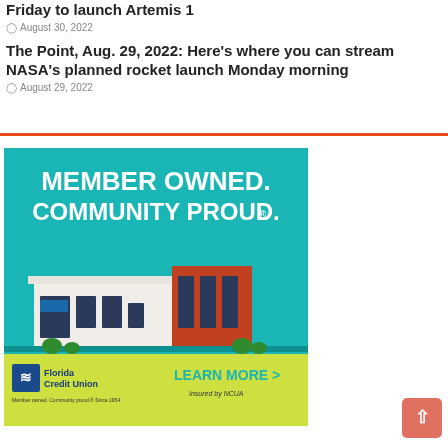Friday to launch Artemis 1
August 30, 2022
The Point, Aug. 29, 2022: Here’s where you can stream NASA’s planned rocket launch Monday morning
August 29, 2022
[Figure (illustration): Florida Credit Union advertisement. Teal background with bold white text reading MEMBER OWNED. COMMUNITY PROUD. with a registered trademark symbol. Below is an illustrated building (Florida Credit Union branch). Bottom banner in yellow-green shows Florida Credit Union logo on left and LEARN MORE > with Insured by NCUA text on right.]